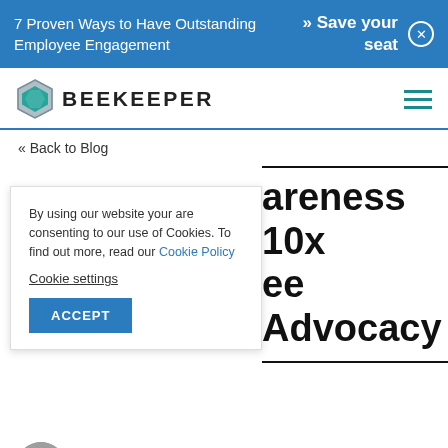7 Proven Ways to Have Outstanding Employee Engagement  » Save your seat
[Figure (logo): Beekeeper logo with hexagon icon and text BEEKEEPER]
« Back to Blog
By using our website your are consenting to our use of Cookies. To find out more, read our Cookie Policy
Cookie settings
ACCEPT
areness 10x ee Advocacy
Jessica Ruane
Senior Content/Brand Marketing